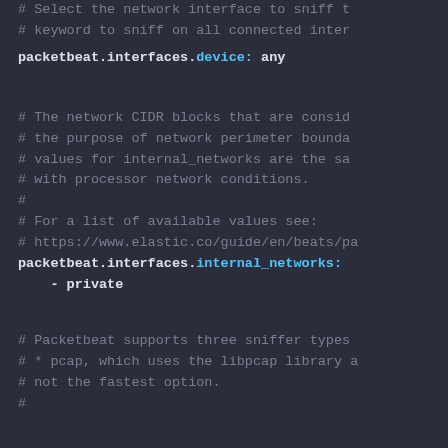# Select the network interface to sniff t
# keyword to sniff on all connected inter
packetbeat.interfaces.device: any
# The network CIDR blocks that are consid
# the purpose of network perimeter bounda
# values for internal_networks are the sa
# with processor network conditions.
#
# For a list of available values see:
# https://www.elastic.co/guide/en/beats/pa
packetbeat.interfaces.internal_networks:
- private
# Packetbeat supports three sniffer types
# * pcap, which uses the libpcap library a
# not the fastest option.